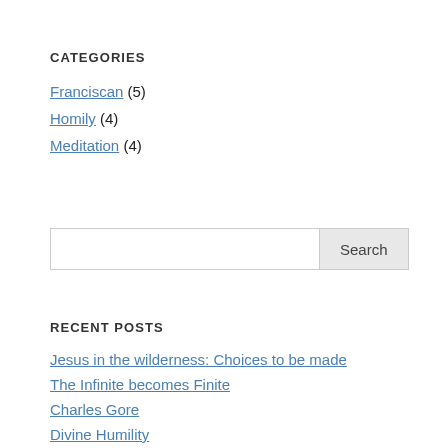CATEGORIES
Franciscan (5)
Homily (4)
Meditation (4)
RECENT POSTS
Jesus in the wilderness: Choices to be made
The Infinite becomes Finite
Charles Gore
Divine Humility
The Rainbow Connection